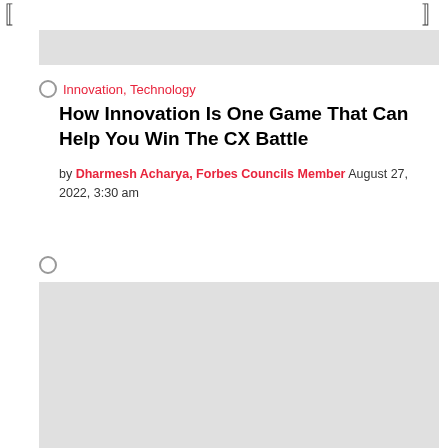[ ]
[Figure (other): Gray banner placeholder image at top of page]
Innovation, Technology
How Innovation Is One Game That Can Help You Win The CX Battle
by Dharmesh Acharya, Forbes Councils Member August 27, 2022, 3:30 am
[Figure (other): Gray banner placeholder image at bottom of page]